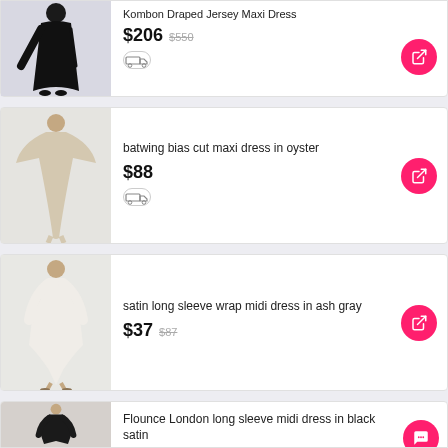Kombon Draped Jersey Maxi Dress
$206  $550
batwing bias cut maxi dress in oyster
$88
satin long sleeve wrap midi dress in ash gray
$37  $87
Flounce London long sleeve midi dress in black satin